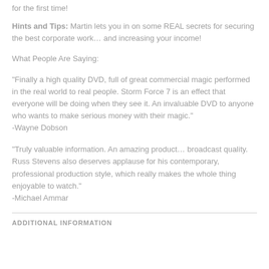for the first time!
Hints and Tips: Martin lets you in on some REAL secrets for securing the best corporate work… and increasing your income!
What People Are Saying:
"Finally a high quality DVD, full of great commercial magic performed in the real world to real people. Storm Force 7 is an effect that everyone will be doing when they see it. An invaluable DVD to anyone who wants to make serious money with their magic."
-Wayne Dobson
"Truly valuable information. An amazing product… broadcast quality. Russ Stevens also deserves applause for his contemporary, professional production style, which really makes the whole thing enjoyable to watch."
-Michael Ammar
ADDITIONAL INFORMATION